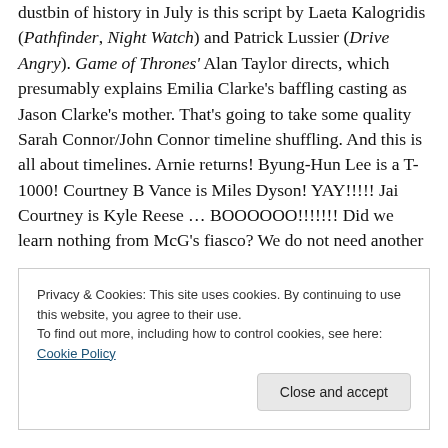dustbin of history in July is this script by Laeta Kalogridis (Pathfinder, Night Watch) and Patrick Lussier (Drive Angry). Game of Thrones' Alan Taylor directs, which presumably explains Emilia Clarke's baffling casting as Jason Clarke's mother. That's going to take some quality Sarah Connor/John Connor timeline shuffling. And this is all about timelines. Arnie returns! Byung-Hun Lee is a T-1000! Courtney B Vance is Miles Dyson! YAY!!!!! Jai Courtney is Kyle Reese … BOOOOOO!!!!!!! Did we learn nothing from McG's fiasco? We do not need another
Privacy & Cookies: This site uses cookies. By continuing to use this website, you agree to their use.
To find out more, including how to control cookies, see here: Cookie Policy